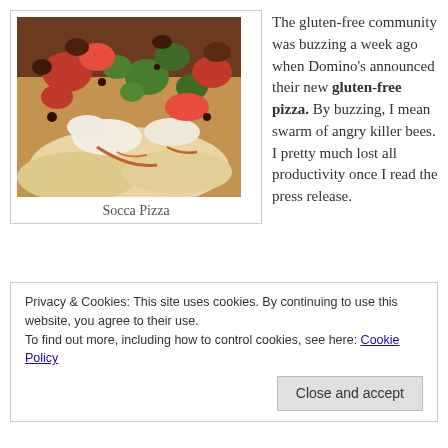[Figure (photo): Close-up photo of Socca Pizza with colorful toppings including broccoli, tomatoes, and cheese on a flatbread crust]
Socca Pizza
The gluten-free community was buzzing a week ago when Domino's announced their new gluten-free pizza.  By buzzing, I mean swarm of angry killer bees.  I pretty much lost all productivity once I read the press release.
Privacy & Cookies: This site uses cookies. By continuing to use this website, you agree to their use.
To find out more, including how to control cookies, see here: Cookie Policy
Close and accept